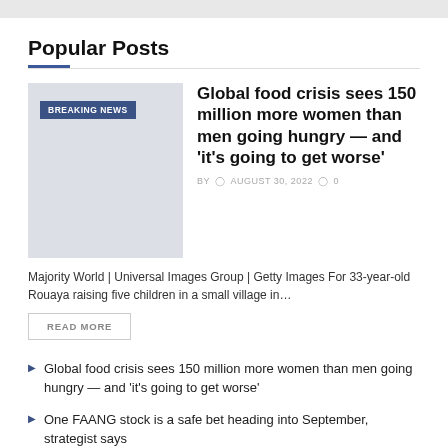Popular Posts
[Figure (photo): News thumbnail image with BREAKING NEWS badge overlay on a light gray background]
Global food crisis sees 150 million more women than men going hungry — and 'it's going to get worse'
BY  AUGUST 30, 2022  0
Majority World | Universal Images Group | Getty Images For 33-year-old Rouaya raising five children in a small village in...
READ MORE
Global food crisis sees 150 million more women than men going hungry — and 'it's going to get worse'
One FAANG stock is a safe bet heading into September, strategist says